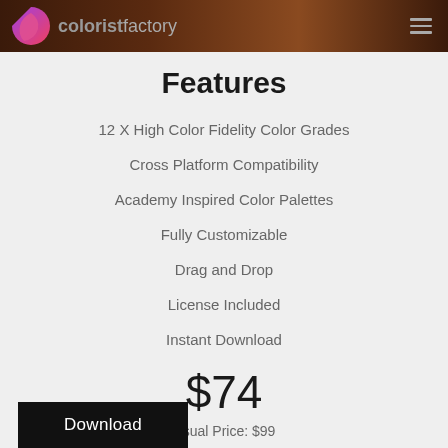coloristfactory
Features
12 X High Color Fidelity Color Grades
Cross Platform Compatibility
Academy Inspired Color Palettes
Fully Customizable
Drag and Drop
License Included
Instant Download
$74
Usual Price: $99
Download